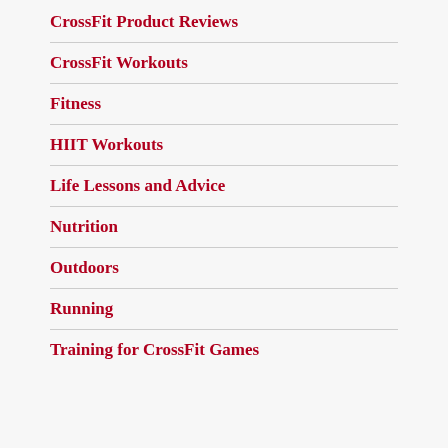CrossFit Product Reviews
CrossFit Workouts
Fitness
HIIT Workouts
Life Lessons and Advice
Nutrition
Outdoors
Running
Training for CrossFit Games